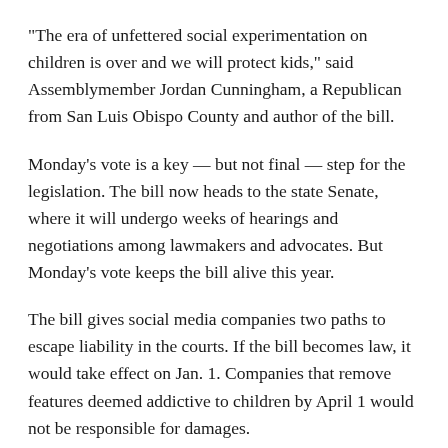"The era of unfettered social experimentation on children is over and we will protect kids," said Assemblymember Jordan Cunningham, a Republican from San Luis Obispo County and author of the bill.
Monday's vote is a key — but not final — step for the legislation. The bill now heads to the state Senate, where it will undergo weeks of hearings and negotiations among lawmakers and advocates. But Monday's vote keeps the bill alive this year.
The bill gives social media companies two paths to escape liability in the courts. If the bill becomes law, it would take effect on Jan. 1. Companies that remove features deemed addictive to children by April 1 would not be responsible for damages.